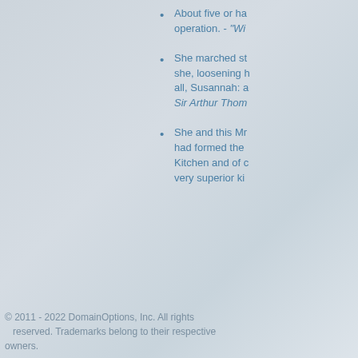About five or ha... operation. - "Wi...
She marched st... she, loosening h... all, Susannah: a... Sir Arthur Thom...
She and this Mr... had formed the... Kitchen and of c... very superior ki...
© 2011 - 2022 DomainOptions, Inc. All rights reserved. Trademarks belong to their respective owners.